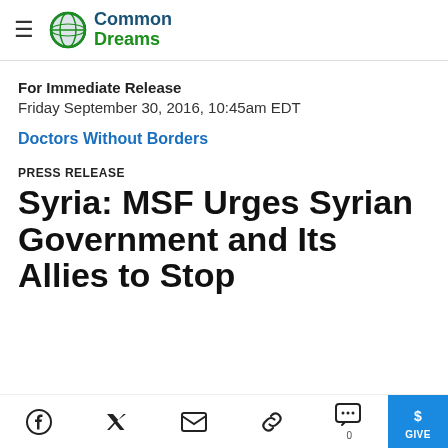Common Dreams
For Immediate Release
Friday September 30, 2016, 10:45am EDT
Doctors Without Borders
PRESS RELEASE
Syria: MSF Urges Syrian Government and Its Allies to Stop